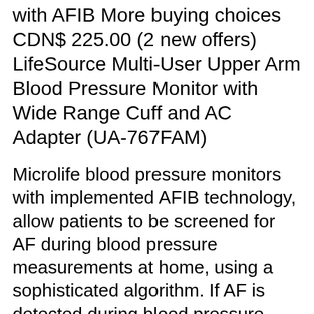with AFIB More buying choices CDN$ 225.00 (2 new offers) LifeSource Multi-User Upper Arm Blood Pressure Monitor with Wide Range Cuff and AC Adapter (UA-767FAM)
Microlife blood pressure monitors with implemented AFIB technology, allow patients to be screened for AF during blood pressure measurements at home, using a sophisticated algorithm. If AF is detected during blood pressure measurements, the AFIB symbol is displayed. Microlife AFIB does not make a diagnosis, but provides important information for If you find product , Deals.If at the time will discount more Savings.So you already decide you want